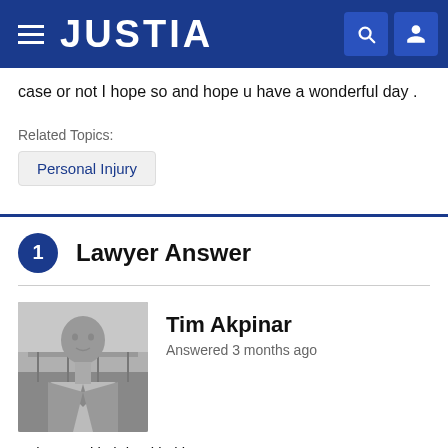JUSTIA
case or not I hope so and hope u have a wonderful day .
Related Topics:
Personal Injury
1 Lawyer Answer
Tim Akpinar
Answered 3 months ago
A d T ... tt i i th b t iti t ki